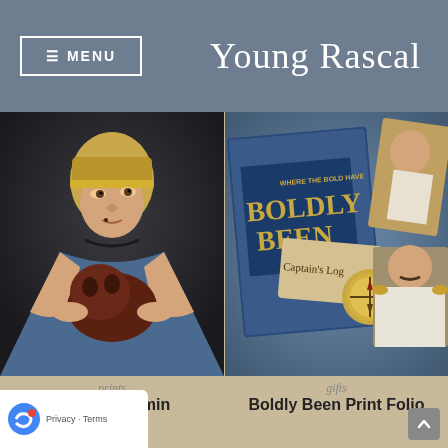≡ MENU    Young Rascal
[Figure (photo): Portrait painting parody: woman in Renaissance style holding an alien creature (parody of Lady with an Ermine)]
[Figure (photo): Collage of adventure travel items: book titled 'Boldly Been - Where the Bold Have', Captain's Log notebook, compass, portraits of men in period costume]
prints
y with a Vermin
gifts
Boldly Been Print Folio